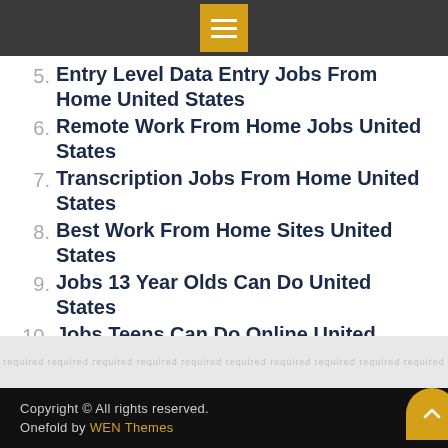Menu icon header bar
5. Entry Level Data Entry Jobs From Home United States
6. Remote Work From Home Jobs United States
7. Transcription Jobs From Home United States
8. Best Work From Home Sites United States
9. Jobs 13 Year Olds Can Do United States
10. Jobs Teens Can Do Online United States
Copyright © All rights reserved. Onefold by WEN Themes